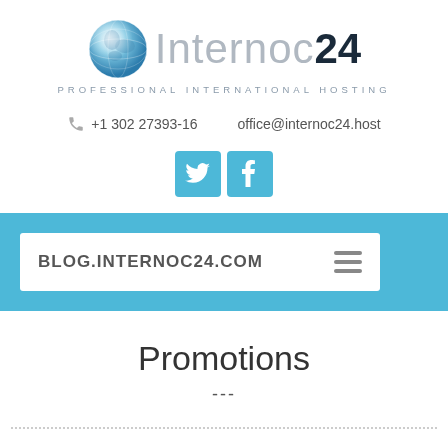[Figure (logo): Internoc24 logo with globe icon and text 'Internoc 24' and tagline 'PROFESSIONAL INTERNATIONAL HOSTING']
+1 302 27393-16   office@internoc24.host
[Figure (illustration): Twitter and Facebook social media icon buttons in light blue]
[Figure (screenshot): Navigation bar showing BLOG.INTERNOC24.COM with hamburger menu icon on light blue background]
Promotions
---